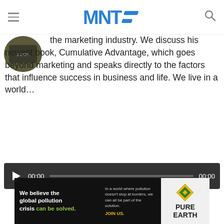MNT (Marketing News & Technology)
the marketing industry. We discuss his newest book, Cumulative Advantage, which goes beyond marketing and speaks directly to the factors that influence success in business and life. We live in a world…
[Figure (screenshot): Audio player with play button, 00:00 time counter, progress bar, and 00:00 duration on dark background]
Advertisements
[Figure (photo): Pure Earth advertisement banner: 'We believe the global pollution crisis can be solved.' with Pure Earth logo on the right]